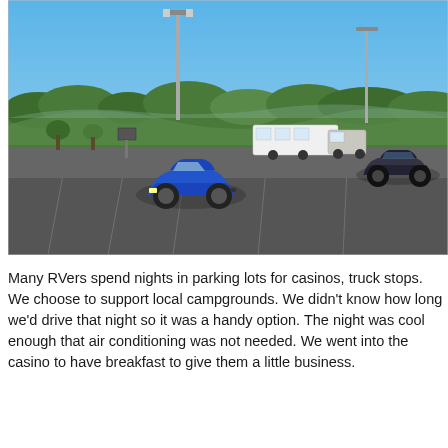[Figure (photo): A large parking lot on a sunny day with clear blue sky. A blue sports car is parked in the foreground center, a white RV trailer with a pickup truck is parked in the middle distance, and a dark sedan is on the right. Green wooded hills are visible in the background along with parking lot light poles.]
Many RVers spend nights in parking lots for casinos, truck stops. We choose to support local campgrounds. We didn't know how long we'd drive that night so it was a handy option. The night was cool enough that air conditioning was not needed. We went into the casino to have breakfast to give them a little business.